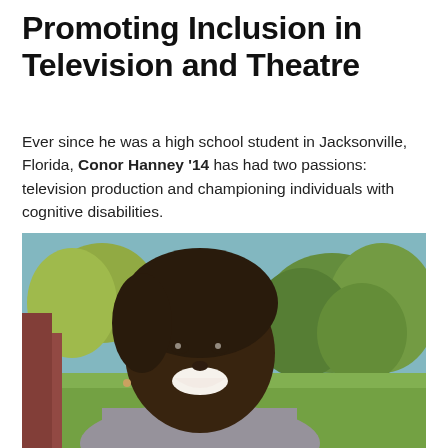Promoting Inclusion in Television and Theatre
Ever since he was a high school student in Jacksonville, Florida, Conor Hanney '14 has had two passions: television production and championing individuals with cognitive disabilities.
[Figure (photo): A smiling young woman with braided hair, wearing an off-shoulder grey top, photographed outdoors with green trees and blue sky in the background.]